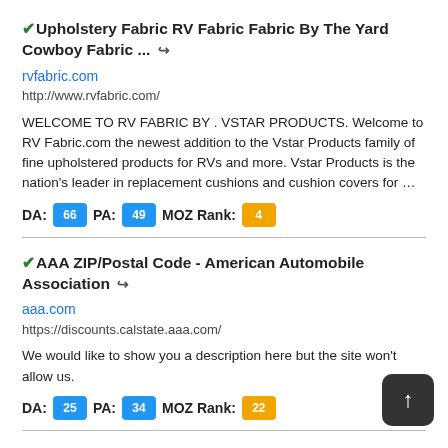✓Upholstery Fabric RV Fabric Fabric By The Yard Cowboy Fabric ... 🔗
rvfabric.com
http://www.rvfabric.com/
WELCOME TO RV FABRIC BY . VSTAR PRODUCTS. Welcome to RV Fabric.com the newest addition to the Vstar Products family of fine upholstered products for RVs and more. Vstar Products is the nation's leader in replacement cushions and cushion covers for …
DA: 66  PA: 49  MOZ Rank: 4
✓AAA ZIP/Postal Code - American Automobile Association 🔗
aaa.com
https://discounts.calstate.aaa.com/
We would like to show you a description here but the site won't allow us.
DA: 25  PA: 34  MOZ Rank: 22